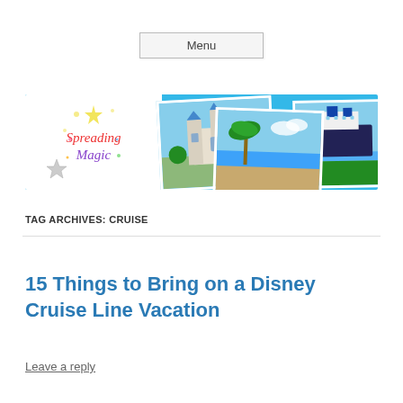Menu
[Figure (illustration): Spreading Magic blog banner with logo card showing 'Spreading Magic' in colorful italic text with star decorations, and three overlapping polaroid-style photos: Disney castle, tropical beach, and Disney cruise ship, all on a bright blue background.]
TAG ARCHIVES: CRUISE
15 Things to Bring on a Disney Cruise Line Vacation
Leave a reply